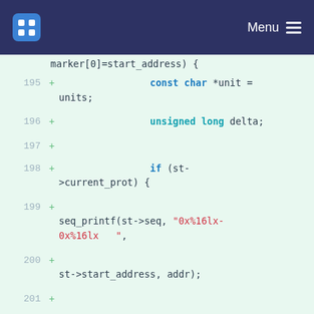Menu
[Figure (screenshot): Code diff view showing lines 195-205 of a C source file with added lines (marked with +) showing code for a function involving const char *unit, unsigned long delta, if (st->current_prot), seq_printf, delta calculation and while loop.]